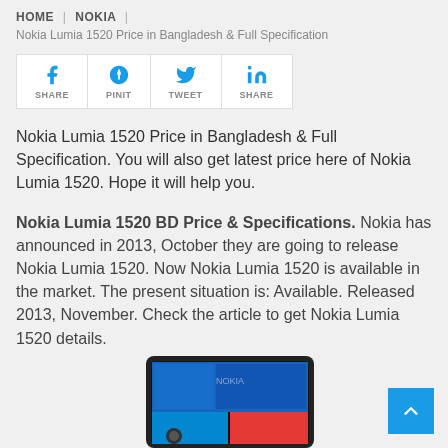HOME | NOKIA |
Nokia Lumia 1520 Price in Bangladesh & Full Specification
[Figure (infographic): Social sharing bar with Facebook (SHARE), Pinterest (PINIT), Twitter (TWEET), LinkedIn (SHARE) icons in blue]
Nokia Lumia 1520 Price in Bangladesh & Full Specification. You will also get latest price here of Nokia Lumia 1520. Hope it will help you.
Nokia Lumia 1520 BD Price & Specifications. Nokia has announced in 2013, October they are going to release Nokia Lumia 1520. Now Nokia Lumia 1520 is available in the market. The present situation is: Available. Released 2013, November. Check the article to get Nokia Lumia 1520 details.
[Figure (photo): Nokia Lumia 1520 smartphone photo showing the front of the device with Windows Phone interface]